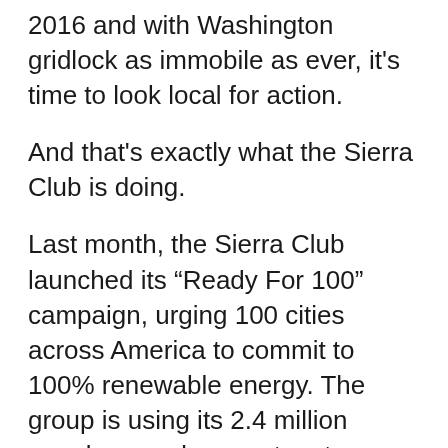2016 and with Washington gridlock as immobile as ever, it’s time to look local for action.
And that’s exactly what the Sierra Club is doing.
Last month, the Sierra Club launched its “Ready For 100” campaign, urging 100 cities across America to commit to 100% renewable energy. The group is using its 2.4 million members and supporters to organize a grassroots campaign to demand climate action from local governments.
Following the bold agreement reached at